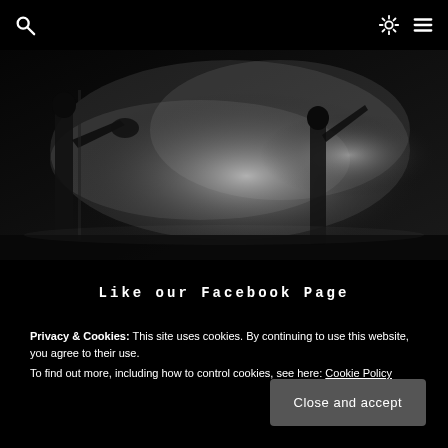Search | Brightness | Menu
[Figure (photo): Black and white concert photo showing silhouettes of musicians on stage with dramatic smoke and backlight effects]
Like our Facebook Page
Privacy & Cookies: This site uses cookies. By continuing to use this website, you agree to their use.
To find out more, including how to control cookies, see here: Cookie Policy
Close and accept